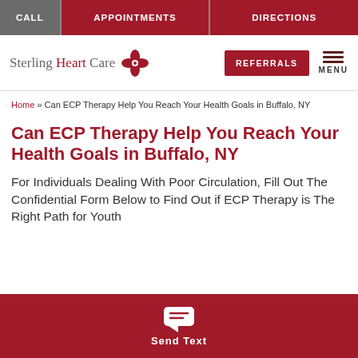CALL | APPOINTMENTS | DIRECTIONS
[Figure (logo): Sterling Heart Care logo with clover/flower icon]
REFERRALS | MENU
Home » Can ECP Therapy Help You Reach Your Health Goals in Buffalo, NY
Can ECP Therapy Help You Reach Your Health Goals in Buffalo, NY
For Individuals Dealing With Poor Circulation, Fill Out The Confidential Form Below to Find Out if ECP Therapy is The Right Path for Youth
Send Text